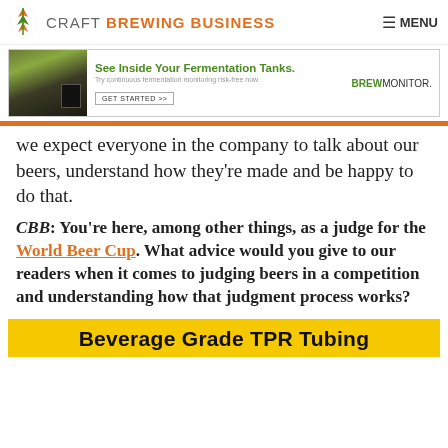CRAFT BREWING BUSINESS  ≡ MENU
[Figure (screenshot): Advertisement for BrewMonitor: 'See Inside Your Fermentation Tanks. Try continuous fermentation monitoring risk-free now. GET STARTED >> BREWMONITOR.']
we expect everyone in the company to talk about our beers, understand how they're made and be happy to do that.
CBB: You're here, among other things, as a judge for the World Beer Cup. What advice would you give to our readers when it comes to judging beers in a competition and understanding how that judgment process works?
[Figure (screenshot): Advertisement banner: 'Beverage Grade TPR Tubing']